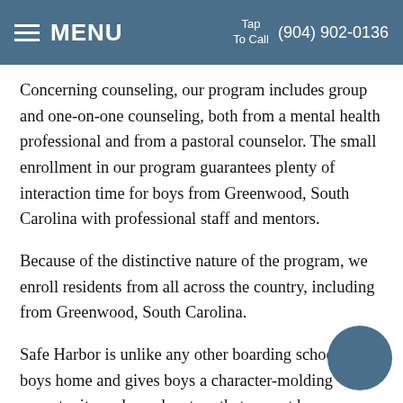MENU  Tap To Call  (904) 902-0136
Concerning counseling, our program includes group and one-on-one counseling, both from a mental health professional and from a pastoral counselor. The small enrollment in our program guarantees plenty of interaction time for boys from Greenwood, South Carolina with professional staff and mentors.
Because of the distinctive nature of the program, we enroll residents from all across the country, including from Greenwood, South Carolina.
Safe Harbor is unlike any other boarding school or boys home and gives boys a character-molding opportunity and an adventure that cannot be duplicated in Greenwood, South Carolina. As you continue your search in Greenwood, South Carolina and elsewhere, thank you for looking at Safe Harbor Maritime Academy situated on the East Coast in